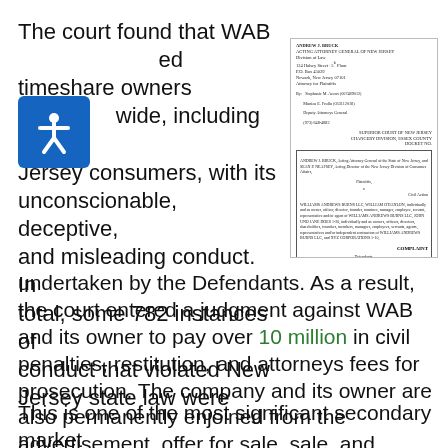The court found that WAB [icon] ed timeshare owners [icon]wide, including New Jersey consumers, with its unconscionable, deceptive, and misleading conduct. In total, some 782 instances of conduct that violated New Jersey state law were undertaken by the Defendants. As a result, the court entered a judgment against WAB and its owner to pay over 10 million in civil penalties, restitution, and attorneys fees for prosecution. The company and its owner are also permanently enjoined from the advertisement, offer for sale, sale, and performance of Rental Services and/or Collections Services within the State of New Jersey.
[Figure (other): Scanned court complaint document header showing Andrew J. Bruck, Acting Attorney General of New Jersey, Division of Law, address in Newark NJ, attorneys listed by name and bar number, Superior Court of New Jersey Chancery Division Essex County, case parties including Williams Andrews Burns LLC and related defendants, labeled COMPLAINT]
This is one of the most significant secondary market